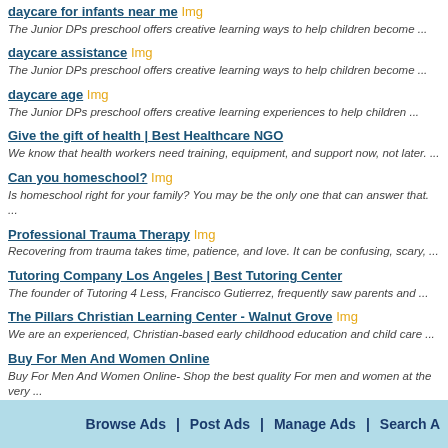daycare for infants near me Img
The Junior DPs preschool offers creative learning ways to help children become ...
daycare assistance Img
The Junior DPs preschool offers creative learning ways to help children become ...
daycare age Img
The Junior DPs preschool offers creative learning experiences to help children ...
Give the gift of health | Best Healthcare NGO
We know that health workers need training, equipment, and support now, not later. ...
Can you homeschool? Img
Is homeschool right for your family? You may be the only one that can answer that. ...
Professional Trauma Therapy Img
Recovering from trauma takes time, patience, and love. It can be confusing, scary, ...
Tutoring Company Los Angeles | Best Tutoring Center
The founder of Tutoring 4 Less, Francisco Gutierrez, frequently saw parents and ...
The Pillars Christian Learning Center - Walnut Grove Img
We are an experienced, Christian-based early childhood education and child care ...
Buy For Men And Women Online
Buy For Men And Women Online- Shop the best quality For men and women at the very ...
LOST LOVE SPELLS CASTER ONLINE +27731639862-SAN ...
What you should know! Do you ever wonder why some people are successful and ...
LOST LOVE SPELLS CASTER ONLINE +27731639862-USA-SAN ...
What you should know! Do you ever wonder why some people are successful and ...
Champion Roofing Img
Browse Ads | Post Ads | Manage Ads | Search A